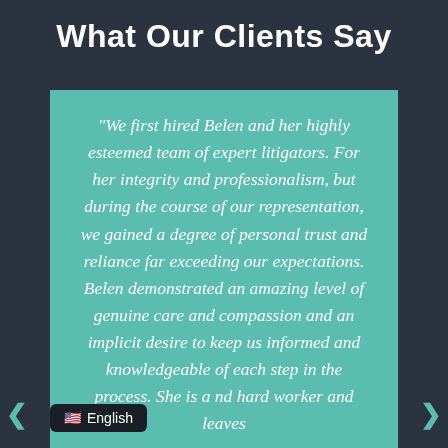What Our Clients Say
"We first hired Belen and her highly esteemed team of expert litigators. For her integrity and professionalism, but during the course of our representation, we gained a degree of personal trust and reliance far exceeding our expectations. Belen demonstrated an amazing level of genuine care and compassion and an implicit desire to keep us informed and knowledgeable of each step in the process. She is a nd hard worker and leaves
English